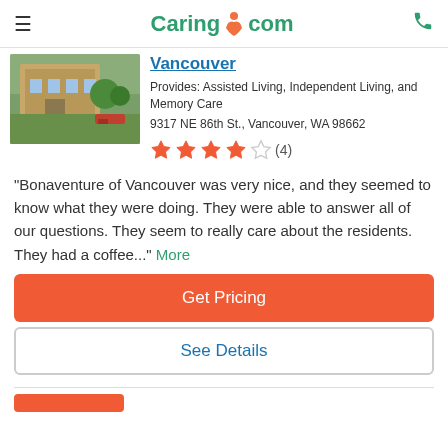Caring.com
Vancouver
Provides: Assisted Living, Independent Living, and Memory Care
9317 NE 86th St., Vancouver, WA 98662
4 out of 5 stars (4 reviews)
"Bonaventure of Vancouver was very nice, and they seemed to know what they were doing. They were able to answer all of our questions. They seem to really care about the residents. They had a coffee..." More
Get Pricing
See Details